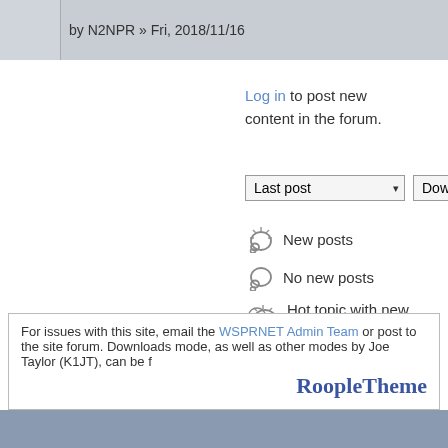[Figure (screenshot): Top bar showing forum post entry: avatar thumbnail and 'by N2NPR » Fri, 2018/11/16' text]
Log in to post new content in the forum.
[Figure (screenshot): Sort controls: 'Last post' dropdown and 'Down' dropdown]
New posts
No new posts
Hot topic with new posts
Hot topic without new posts
Sticky topic
Locked topic
For issues with this site, email the WSPRNET Admin Team or post to the site forum. Downloads mode, as well as other modes by Joe Taylor (K1JT), can be f
RoopleTheme